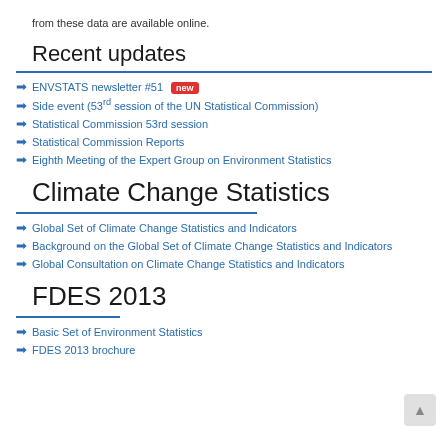from these data are available online.
Recent updates
ENVSTATS newsletter #51 [new]
Side event (53rd session of the UN Statistical Commission)
Statistical Commission 53rd session
Statistical Commission Reports
Eighth Meeting of the Expert Group on Environment Statistics
Climate Change Statistics
Global Set of Climate Change Statistics and Indicators
Background on the Global Set of Climate Change Statistics and Indicators
Global Consultation on Climate Change Statistics and Indicators
FDES 2013
Basic Set of Environment Statistics
FDES 2013 brochure